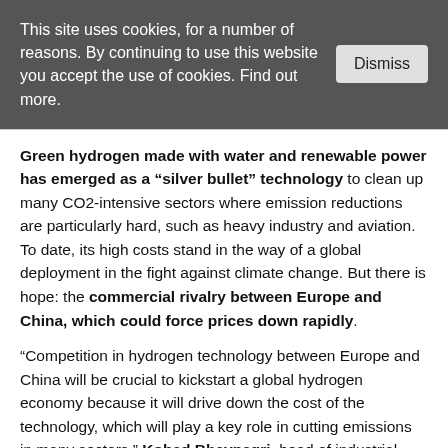This site uses cookies, for a number of reasons. By continuing to use this website you accept the use of cookies. Find out more.
Green hydrogen made with water and renewable power has emerged as a “silver bullet” technology to clean up many CO2-intensive sectors where emission reductions are particularly hard, such as heavy industry and aviation. To date, its high costs stand in the way of a global deployment in the fight against climate change. But there is hope: the commercial rivalry between Europe and China, which could force prices down rapidly.
“Competition in hydrogen technology between Europe and China will be crucial to kickstart a global hydrogen economy because it will drive down the cost of the technology, which will play a key role in cutting emissions in many sectors,” Kobad Bhavnagri, head of industrial decarbonisation at research service BloombergNEF, told Clean Energy Wire.
“In turn, this will enable more countries to commit to net-zero